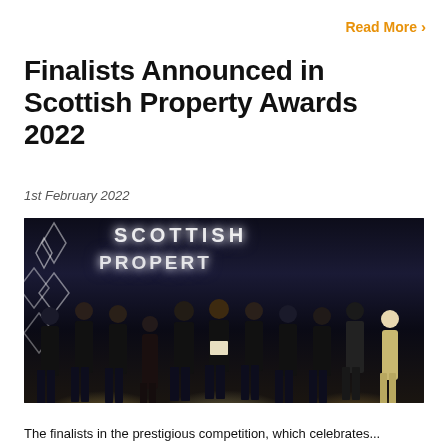Read More >
Finalists Announced in Scottish Property Awards 2022
1st February 2022
[Figure (photo): Group photo of approximately 11 people in formal evening wear (mostly black tie) standing in a line on a stage in front of an illuminated backdrop reading 'SCOTTISH PROPERTY'. One person in the centre is holding an award certificate. A woman in a silver/gold dress stands at the far right.]
The finalists in the prestigious competition, which celebrates...